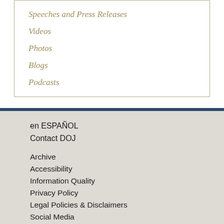Speeches and Press Releases
Videos
Photos
Blogs
Podcasts
en ESPAÑOL
Contact DOJ

Archive
Accessibility
Information Quality
Privacy Policy
Legal Policies & Disclaimers
Social Media

Budget & Performance
Office of the Inspector General
No FEAR Act
For Employees
FOIA